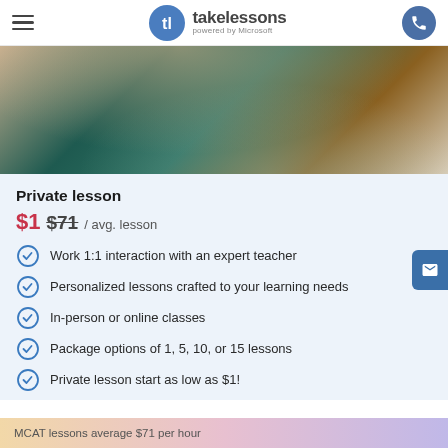takelessons powered by Microsoft
[Figure (photo): Person wearing a teal cardigan over a yellow shirt, sitting at a table, partial view from chest down]
Private lesson
$1 $71 / avg. lesson
Work 1:1 interaction with an expert teacher
Personalized lessons crafted to your learning needs
In-person or online classes
Package options of 1, 5, 10, or 15 lessons
Private lesson start as low as $1!
MCAT lessons average $71 per hour